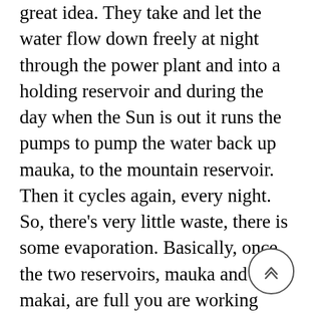great idea. They take and let the water flow down freely at night through the power plant and into a holding reservoir and during the day when the Sun is out it runs the pumps to pump the water back up mauka, to the mountain reservoir. Then it cycles again, every night. So, there's very little waste, there is some evaporation. Basically, once the two reservoirs, mauka and makai, are full you are working with the same body of water to make power. They went through this negotiation process and KIUC came up with this idea, there was a gentleman who came over to mediate because the lawsuit had been underway for so many years. I went to the CWRM hearing in Lihue, where they took testimony from the island people, where they actually made an onsite track tour of the Koke'e Ditch system and they got measurements in stream flow and ditch flow. The interesting that came out of that that